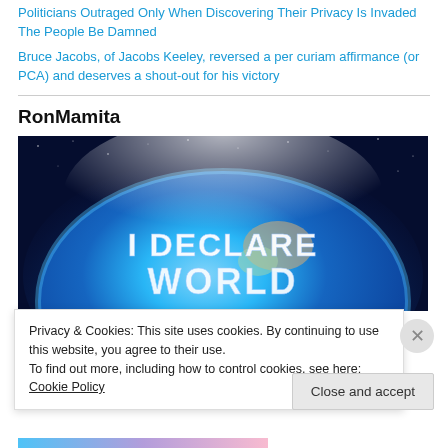Politicians Outraged Only When Discovering Their Privacy Is Invaded The People Be Damned
Bruce Jacobs, of Jacobs Keeley, reversed a per curiam affirmance (or PCA) and deserves a shout-out for his victory
RonMamita
[Figure (photo): Globe/Earth image in space with text 'I DECLARE WORLD' overlaid in large white letters]
Privacy & Cookies: This site uses cookies. By continuing to use this website, you agree to their use.
To find out more, including how to control cookies, see here: Cookie Policy
Close and accept